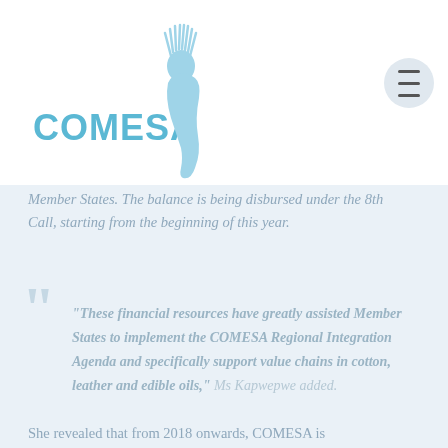[Figure (logo): COMESA logo with stylized blue African figure and text]
Member States. The balance is being disbursed under the 8th Call, starting from the beginning of this year.
“These financial resources have greatly assisted Member States to implement the COMESA Regional Integration Agenda and specifically support value chains in cotton, leather and edible oils,” Ms Kapwepwe added.
She revealed that from 2018 onwards, COMESA is